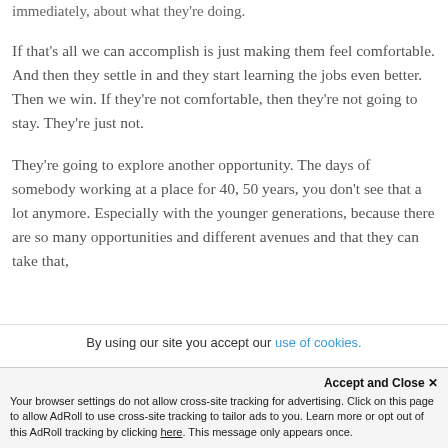immediately, about what they're doing.
If that's all we can accomplish is just making them feel comfortable. And then they settle in and they start learning the jobs even better. Then we win. If they're not comfortable, then they're not going to stay. They're just not.
They're going to explore another opportunity. The days of somebody working at a place for 40, 50 years, you don't see that a lot anymore. Especially with the younger generations, because there are so many opportunities and different avenues and that they can take that,
By using our site you accept our use of cookies.
Accept and Close ✕
Your browser settings do not allow cross-site tracking for advertising. Click on this page to allow AdRoll to use cross-site tracking to tailor ads to you. Learn more or opt out of this AdRoll tracking by clicking here. This message only appears once.